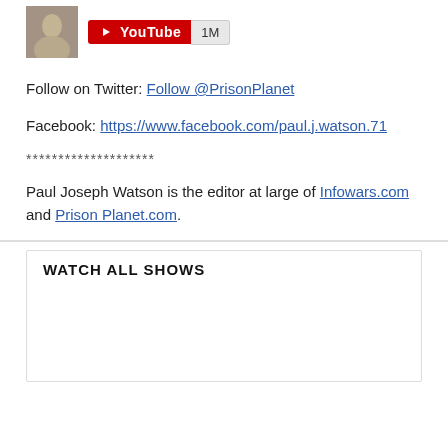[Figure (screenshot): YouTube channel badge showing play button icon, 'YouTube' text in white on red background, and '1M' subscriber count on grey background, alongside a small profile avatar photo]
Follow on Twitter: Follow @PrisonPlanet
Facebook: https://www.facebook.com/paul.j.watson.71
********************
Paul Joseph Watson is the editor at large of Infowars.com and Prison Planet.com.
WATCH ALL SHOWS